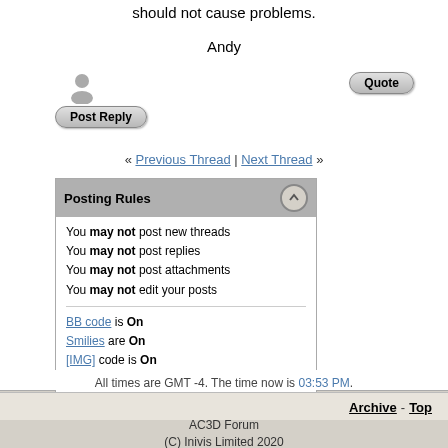should not cause problems.
Andy
« Previous Thread | Next Thread »
Posting Rules
You may not post new threads
You may not post replies
You may not post attachments
You may not edit your posts
BB code is On
Smilies are On
[IMG] code is On
HTML code is Off
Forum Rules
All times are GMT -4. The time now is 03:53 PM.
Archive - Top
AC3D Forum
(C) Inivis Limited 2020